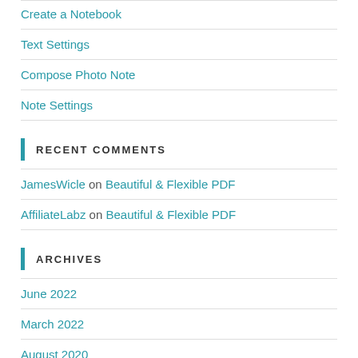Create a Notebook
Text Settings
Compose Photo Note
Note Settings
RECENT COMMENTS
JamesWicle on Beautiful & Flexible PDF
AffiliateLabz on Beautiful & Flexible PDF
ARCHIVES
June 2022
March 2022
August 2020